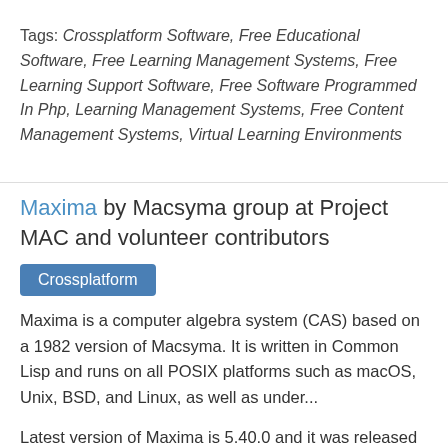Tags: Crossplatform Software, Free Educational Software, Free Learning Management Systems, Free Learning Support Software, Free Software Programmed In Php, Learning Management Systems, Free Content Management Systems, Virtual Learning Environments
Maxima by Macsyma group at Project MAC and volunteer contributors
Crossplatform
Maxima is a computer algebra system (CAS) based on a 1982 version of Macsyma. It is written in Common Lisp and runs on all POSIX platforms such as macOS, Unix, BSD, and Linux, as well as under...
Latest version of Maxima is 5.40.0 and it was released on 2017-05-30.
Tags: Common Lisp Software, Computer Algebra